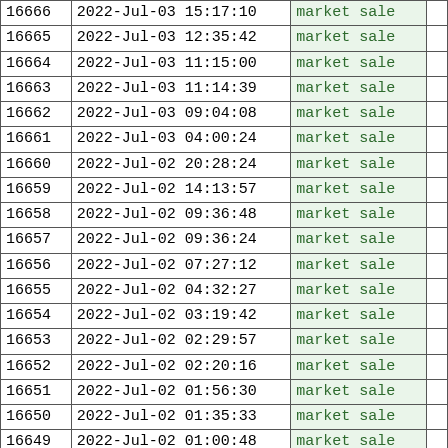| id | datetime | type |  |
| --- | --- | --- | --- |
| 16666 | 2022-Jul-03 15:17:10 | market sale |  |
| 16665 | 2022-Jul-03 12:35:42 | market sale |  |
| 16664 | 2022-Jul-03 11:15:00 | market sale |  |
| 16663 | 2022-Jul-03 11:14:39 | market sale |  |
| 16662 | 2022-Jul-03 09:04:08 | market sale |  |
| 16661 | 2022-Jul-03 04:00:24 | market sale |  |
| 16660 | 2022-Jul-02 20:28:24 | market sale |  |
| 16659 | 2022-Jul-02 14:13:57 | market sale |  |
| 16658 | 2022-Jul-02 09:36:48 | market sale |  |
| 16657 | 2022-Jul-02 09:36:24 | market sale |  |
| 16656 | 2022-Jul-02 07:27:12 | market sale |  |
| 16655 | 2022-Jul-02 04:32:27 | market sale |  |
| 16654 | 2022-Jul-02 03:19:42 | market sale |  |
| 16653 | 2022-Jul-02 02:29:57 | market sale |  |
| 16652 | 2022-Jul-02 02:20:16 | market sale |  |
| 16651 | 2022-Jul-02 01:56:30 | market sale |  |
| 16650 | 2022-Jul-02 01:35:33 | market sale |  |
| 16649 | 2022-Jul-02 01:00:48 | market sale |  |